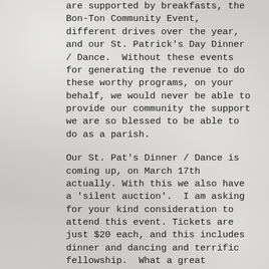are supported by breakfasts, the Bon-Ton Community Event, different drives over the year, and our St. Patrick's Day Dinner / Dance.  Without these events for generating the revenue to do these worthy programs, on your behalf, we would never be able to provide our community the support we are so blessed to be able to do as a parish.
Our St. Pat's Dinner / Dance is coming up, on March 17th actually. With this we also have a 'silent auction'.  I am asking for your kind consideration to attend this event. Tickets are just $20 each, and this includes dinner and dancing and terrific fellowship.  What a great bargain. Bring you beverage of choice. Tickets are available after all Masses.
In order for this event to be the great success that it has been, we are in serious need of items for the auction.  I ask that you look in your basements, closets, garages etc., and see what you have that may be worthy of donating. Gently used